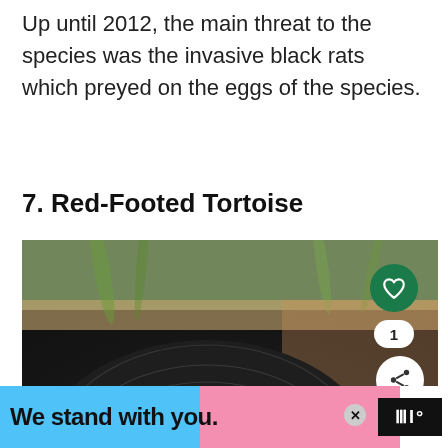Up until 2012, the main threat to the species was the invasive black rats which preyed on the eggs of the species.
7. Red-Footed Tortoise
[Figure (photo): Close-up photograph of a red-footed tortoise shell from above, with a green and brown blurred background. UI elements overlaid: a green heart/like button, a count of 1, a share button, and a 'What's Next' card showing Trionychidae (28 Different...).]
We stand with you.